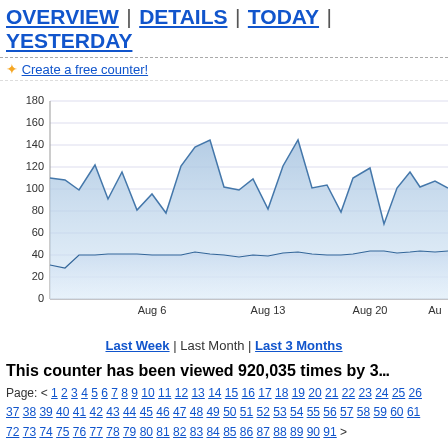OVERVIEW | DETAILS | TODAY | YESTERDAY
✦ Create a free counter!
[Figure (area-chart): Area chart showing visitor counts over time from approximately Aug 1 to Aug 27, 2019. Two filled area series: upper area (light blue, visits ~80-155) and lower area (lighter blue, unique visitors ~25-50). Y-axis 0-180, X-axis labels: Aug 6, Aug 13, Aug 20, Aug (27 partial).]
Last Week | Last Month | Last 3 Months
This counter has been viewed 920,035 times by 3...
Page: < 1 2 3 4 5 6 7 8 9 10 11 12 13 14 15 16 17 18 19 20 21 22 23 24 25 26 37 38 39 40 41 42 43 44 45 46 47 48 49 50 51 52 53 54 55 56 57 58 59 60 61 72 73 74 75 76 77 78 79 80 81 82 83 84 85 86 87 88 89 90 91 >
| Date | Visitors |
| --- | --- |
| August 27, 2019 | 35 |